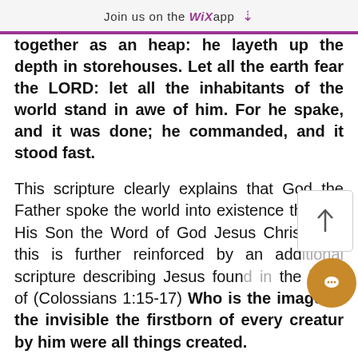Join us on the WiX app ↓
together as an heap: he layeth up the depth in storehouses. Let all the earth fear the LORD: let all the inhabitants of the world stand in awe of him. For he spake, and it was done; he commanded, and it stood fast.
This scripture clearly explains that God the Father spoke the world into existence through His Son the Word of God Jesus Christ, and this is further reinforced by an additional scripture describing Jesus found in the book of (Colossians 1:15-17) Who is the image of the invisible God, the firstborn of every creature: For by him were all things created.